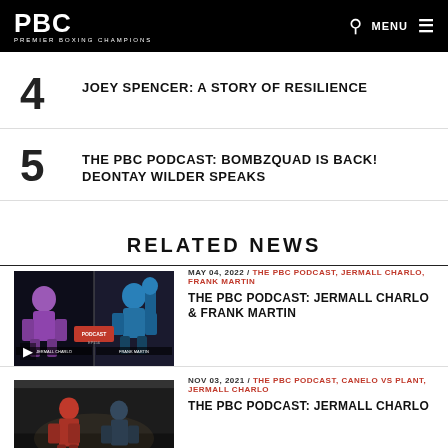PBC PREMIER BOXING CHAMPIONS
4 JOEY SPENCER: A STORY OF RESILIENCE
5 THE PBC PODCAST: BOMBZQUAD IS BACK! DEONTAY WILDER SPEAKS
RELATED NEWS
[Figure (photo): Boxing image showing Jermall Charlo and Frank Martin, PBC Podcast episode artwork]
MAY 04, 2022 / THE PBC PODCAST, JERMALL CHARLO, FRANK MARTIN THE PBC PODCAST: JERMALL CHARLO & FRANK MARTIN
[Figure (photo): Boxing image for Nov 03, 2021 PBC Podcast episode with Jermall Charlo]
NOV 03, 2021 / THE PBC PODCAST, CANELO VS PLANT, JERMALL CHARLO THE PBC PODCAST: JERMALL CHARLO